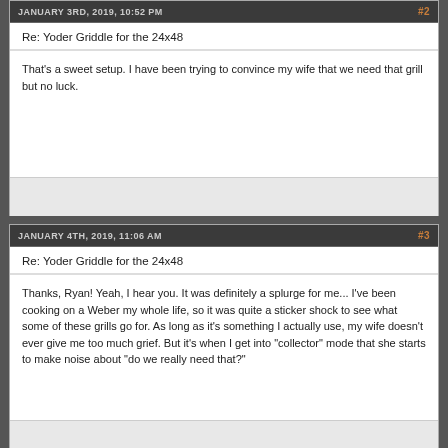JANUARY 3RD, 2019, 10:52 PM  #2
Re: Yoder Griddle for the 24x48
That's a sweet setup. I have been trying to convince my wife that we need that grill but no luck.
JANUARY 4TH, 2019, 11:06 AM  #3
Re: Yoder Griddle for the 24x48
Thanks, Ryan! Yeah, I hear you. It was definitely a splurge for me... I've been cooking on a Weber my whole life, so it was quite a sticker shock to see what some of these grills go for. As long as it's something I actually use, my wife doesn't ever give me too much grief. But it's when I get into "collector" mode that she starts to make noise about "do we really need that?"